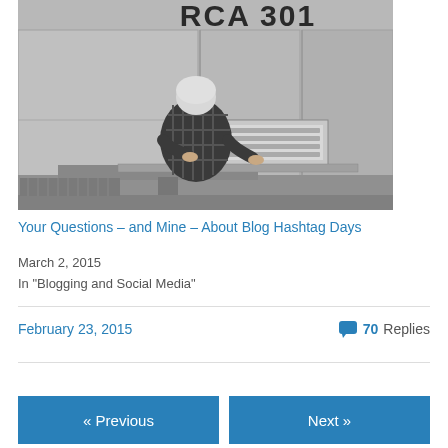[Figure (photo): Black and white photograph of a woman sitting at a console/keyboard of an RCA 301 mainframe computer. The large computer panels are visible behind her with 'RCA 301' text at the top.]
Your Questions – and Mine – About Blog Hashtag Days
March 2, 2015
In "Blogging and Social Media"
February 23, 2015
70 Replies